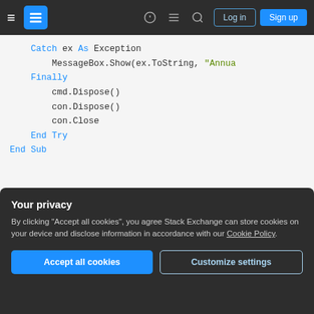Stack Exchange navigation bar with hamburger menu, logo, help, chat, search icons, Log in and Sign up buttons
[Figure (screenshot): Code snippet in Visual Basic showing Catch ex As Exception, MessageBox.Show(ex.ToString, "Annua..."), Finally, cmd.Dispose(), con.Dispose(), con.Close, End Try, End Sub — syntax highlighted with blue keywords and green string]
Share    Improve this answer    Follow
edited Jul 13, 2015 at 15:02
Quill   11.9k  5  38  92
Your privacy
By clicking "Accept all cookies", you agree Stack Exchange can store cookies on your device and disclose information in accordance with our Cookie Policy.
Accept all cookies    Customize settings